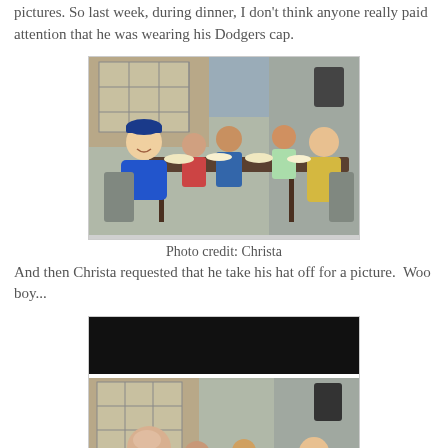pictures. So last week, during dinner, I don't think anyone really paid attention that he was wearing his Dodgers cap.
[Figure (photo): A man wearing a blue Dodgers cap and blue shirt sitting at an outdoor dining table with several children and a woman in a yellow sweater, eating dinner on a patio.]
Photo credit: Christa
And then Christa requested that he take his hat off for a picture.  Woo boy...
[Figure (photo): A man without his hat sitting at an outdoor dining table with children and a woman in a yellow sweater, showing his bald head, eating dinner on a patio. Top portion of image is blacked out.]